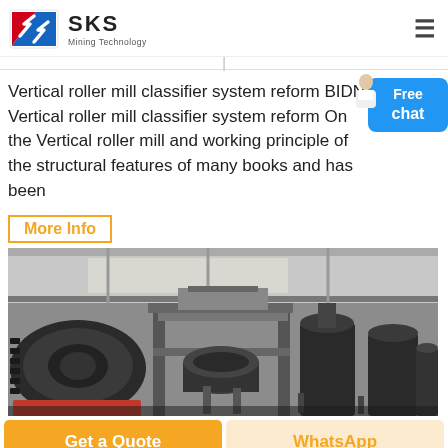SKS Mining Technology
Vertical roller mill classifier system reform BIDN Vertical roller mill classifier system reform On the Vertical roller mill and working principle of the structural features of many books and has been
More Info
[Figure (photo): Factory floor showing large industrial vertical roller mill machinery in a warehouse setting with high ceiling and natural light.]
Get a Quote
WhatsApp